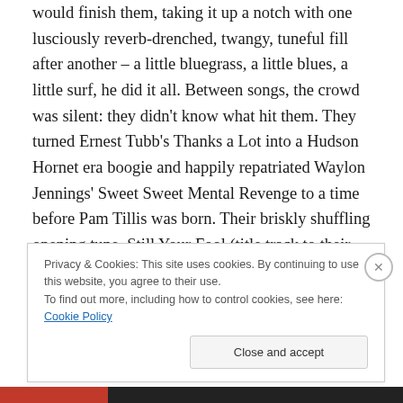would finish them, taking it up a notch with one lusciously reverb-drenched, twangy, tuneful fill after another – a little bluegrass, a little blues, a little surf, he did it all. Between songs, the crowd was silent: they didn't know what hit them. They turned Ernest Tubb's Thanks a Lot into a Hudson Hornet era boogie and happily repatriated Waylon Jennings' Sweet Sweet Mental Revenge to a time before Pam Tillis was born. Their briskly shuffling opening tune, Still Your Fool (title track to their excellent album) set the tone for the day; The Lonesome Side of Me was period perfect not just with the music but also the lyrics, a vibe
Privacy & Cookies: This site uses cookies. By continuing to use this website, you agree to their use.
To find out more, including how to control cookies, see here: Cookie Policy
Close and accept